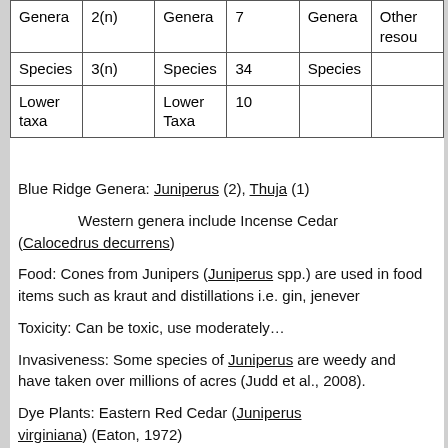| Genera | 2(n) | Genera | 7 | Genera | Other resou |
| Species | 3(n) | Species | 34 | Species |  |
| Lower taxa |  | Lower Taxa | 10 |  |  |
Blue Ridge Genera: Juniperus (2), Thuja (1)
Western genera include Incense Cedar (Calocedrus decurrens)
Food: Cones from Junipers (Juniperus spp.) are used in food items such as kraut and distillations i.e. gin, jenever
Toxicity: Can be toxic, use moderately…
Invasiveness: Some species of Juniperus are weedy and have taken over millions of acres (Judd et al., 2008).
Dye Plants: Eastern Red Cedar (Juniperus virginiana) (Eaton, 1972)